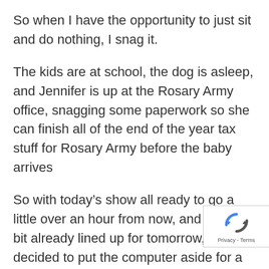So when I have the opportunity to just sit and do nothing, I snag it.
The kids are at school, the dog is asleep, and Jennifer is up at the Rosary Army office, snagging some paperwork so she can finish all of the end of the year tax stuff for Rosary Army before the baby arrives
So with today’s show all ready to go a little over an hour from now, and quite a bit already lined up for tomorrow, I decided to put the computer aside for a few minutes and finished reading Tobit.  I never read it from beginning to e once before.  I started it last night and fin
[Figure (logo): reCAPTCHA badge with rotating arrows icon and Privacy - Terms text]